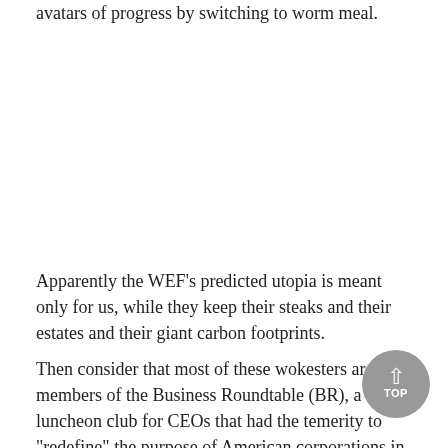avatars of progress by switching to worm meal.
Apparently the WEF's predicted utopia is meant only for us, while they keep their steaks and their estates and their giant carbon footprints.
Then consider that most of these wokesters are also members of the Business Roundtable (BR), a luncheon club for CEOs that had the temerity to "redefine" the purpose of American corporations in 2019, declaring that — never mind the law — such corporations would now be run for the benefit of all stakeholders, not just the shareholders, and so on to the...